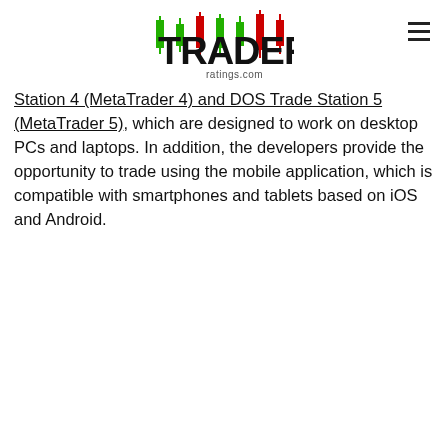TRADERS ratings.com
Station 4 (MetaTrader 4) and DOS Trade Station 5 (MetaTrader 5), which are designed to work on desktop PCs and laptops. In addition, the developers provide the opportunity to trade using the mobile application, which is compatible with smartphones and tablets based on iOS and Android.